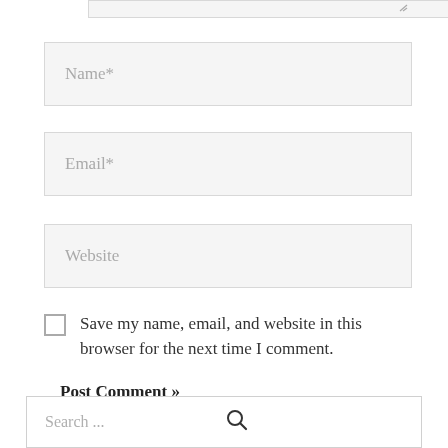[Figure (screenshot): Partial textarea input field visible at top of page with resize handle]
Name*
Email*
Website
Save my name, email, and website in this browser for the next time I comment.
Post Comment »
Search ...